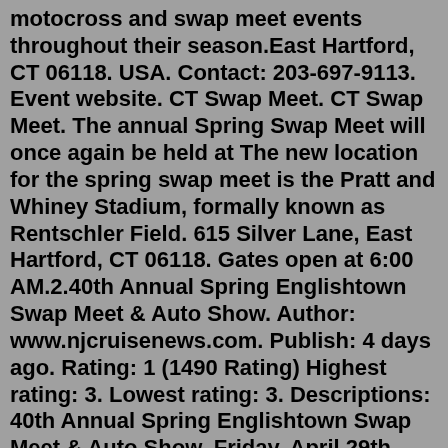motocross and swap meet events throughout their season.East Hartford, CT 06118. USA. Contact: 203-697-9113. Event website. CT Swap Meet. CT Swap Meet. The annual Spring Swap Meet will once again be held at The new location for the spring swap meet is the Pratt and Whiney Stadium, formally known as Rentschler Field. 615 Silver Lane, East Hartford, CT 06118. Gates open at 6:00 AM.2.40th Annual Spring Englishtown Swap Meet & Auto Show. Author: www.njcruisenews.com. Publish: 4 days ago. Rating: 1 (1490 Rating) Highest rating: 3. Lowest rating: 3. Descriptions: 40th Annual Spring Englishtown Swap Meet & Auto Show. Friday, April 29th - May 1st, 2022, Fri/Sat Gates Open 7 am - 6 pm. Sunday Gates Open 7 am - 4 pm.Apr 16, 2021 · 2021 SPRING SWAP MEET & AUTO SHOW The Bi-annual Englishtown Swap Meet & Auto Show is held in April & September, rain or shine. It runs from Friday through Sunday with Vendor spaces on pavement and... The Fall Swap Meet and Auto Show will be held on September 24-26, 2021. It runs from Friday through